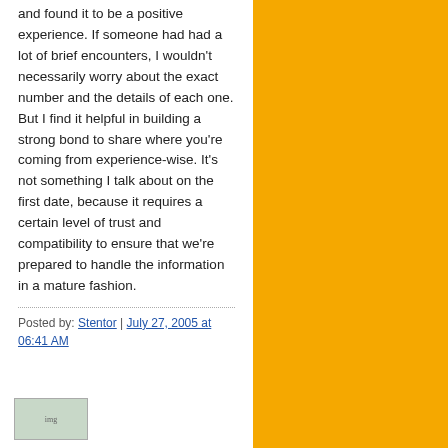and found it to be a positive experience. If someone had had a lot of brief encounters, I wouldn't necessarily worry about the exact number and the details of each one. But I find it helpful in building a strong bond to share where you're coming from experience-wise. It's not something I talk about on the first date, because it requires a certain level of trust and compatibility to ensure that we're prepared to handle the information in a mature fashion.
Posted by: Stentor | July 27, 2005 at 06:41 AM
[Figure (photo): Small thumbnail image at bottom left of page]